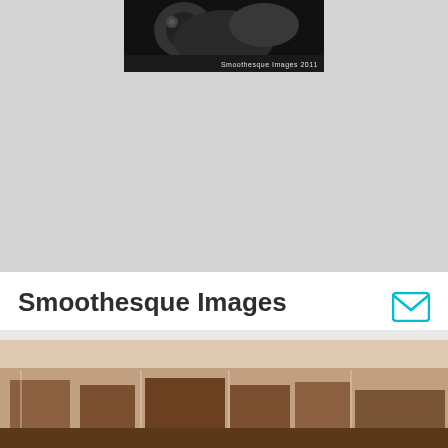[Figure (photo): Black and white photo partially visible at top, with watermark text 'Smoothesque Images 2011']
Smoothesque Images
Baltimore, MD, US
1 month ago
Details
[Figure (photo): Sepia-toned architectural photo showing arched structures and building details]